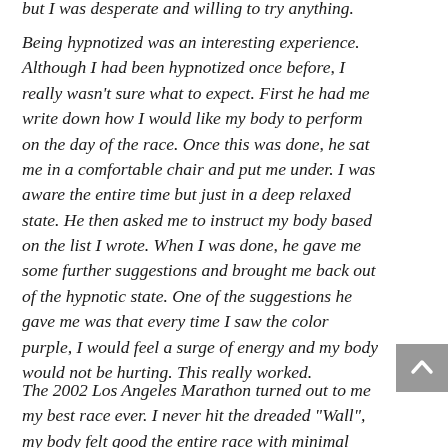but I was desperate and willing to try anything.
Being hypnotized was an interesting experience. Although I had been hypnotized once before, I really wasn't sure what to expect. First he had me write down how I would like my body to perform on the day of the race. Once this was done, he sat me in a comfortable chair and put me under. I was aware the entire time but just in a deep relaxed state. He then asked me to instruct my body based on the list I wrote. When I was done, he gave me some further suggestions and brought me back out of the hypnotic state. One of the suggestions he gave me was that every time I saw the color purple, I would feel a surge of energy and my body would not be hurting. This really worked.
The 2002 Los Angeles Marathon turned out to me my best race ever. I never hit the dreaded “Wall”, my body felt good the entire race with minimal